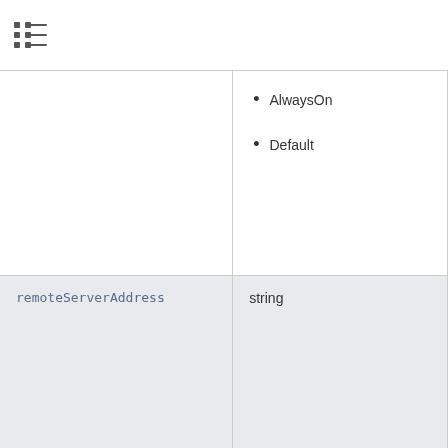AlwaysOn
Default
| Property | Type |
| --- | --- |
| remoteServerAddress | string |